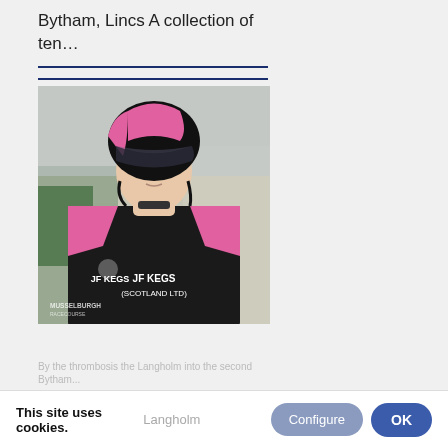Bytham, Lincs A collection of ten…
[Figure (photo): A jockey wearing a black and pink racing kit with a helmet featuring pink panels and dark visor, with a sponsor bib reading 'JF KEGS (SCOTLAND LTD)'. Musselburgh Racecourse watermark visible. Background is blurred outdoor setting.]
By the thrombosis the Langholm into the second Bytham...
This site uses cookies.
Configure
OK